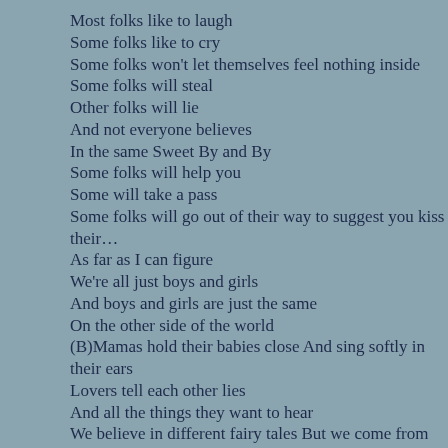Most folks like to laugh
Some folks like to cry
Some folks won't let themselves feel nothing inside
Some folks will steal
Other folks will lie
And not everyone believes
In the same Sweet By and By
Some folks will help you
Some will take a pass
Some folks will go out of their way to suggest you kiss their…
As far as I can figure
We're all just boys and girls
And boys and girls are just the same
On the other side of the world
(B)Mamas hold their babies close And sing softly in their ears
Lovers tell each other lies
And all the things they want to hear
We believe in different fairy tales But we come from the same